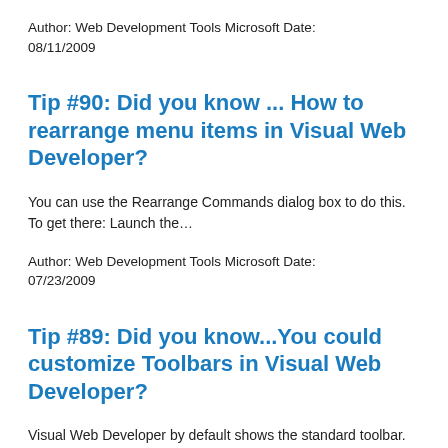Author: Web Development Tools Microsoft Date: 08/11/2009
Tip #90: Did you know ... How to rearrange menu items in Visual Web Developer?
You can use the Rearrange Commands dialog box to do this. To get there: Launch the…
Author: Web Development Tools Microsoft Date: 07/23/2009
Tip #89: Did you know...You could customize Toolbars in Visual Web Developer?
Visual Web Developer by default shows the standard toolbar. To expose the remaining tool bars, you…